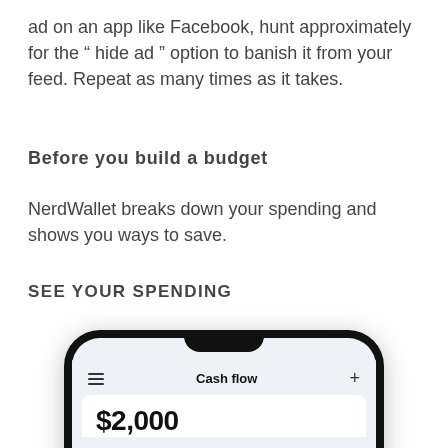ad on an app like Facebook, hunt approximately for the “ hide ad ” option to banish it from your feed. Repeat as many times as it takes.
Before you build a budget
NerdWallet breaks down your spending and shows you ways to save.
SEE YOUR SPENDING
[Figure (screenshot): A smartphone displaying a NerdWallet app screen showing a 'Cash flow' page with a hamburger menu icon, a plus icon, and the beginning of a dollar amount '$2,000' visible at the bottom.]